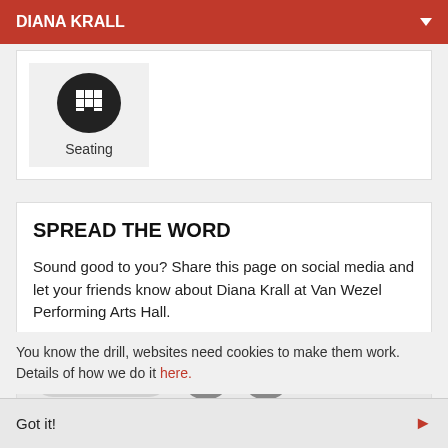DIANA KRALL
[Figure (illustration): Seating icon: black circle with grid/seating layout icon in white, labeled 'Seating' below, on a light gray background card]
SPREAD THE WORD
Sound good to you? Share this page on social media and let your friends know about Diana Krall at Van Wezel Performing Arts Hall.
[Figure (infographic): Social sharing bar with a rounded gray Share button and two circular social icons: Facebook (f) and Twitter (bird), on a light gray background]
You know the drill, websites need cookies to make them work. Details of how we do it here.
Got it!